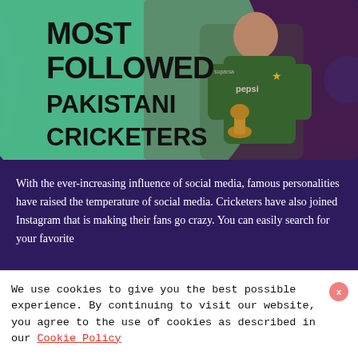[Figure (photo): Hero image showing a Pakistani cricketer in green Pepsi-sponsored jersey holding a trophy, with green blob background and bold text overlay reading 'MOST FOLLOWED PAKISTANI CRICKETERS']
MOST FOLLOWED PAKISTANI CRICKETERS
With the ever-increasing influence of social media, famous personalities have raised the temperature of social media. Cricketers have also joined Instagram that is making their fans go crazy. You can easily search for your favorite
We use cookies to give you the best possible experience. By continuing to visit our website, you agree to the use of cookies as described in our Cookie Policy